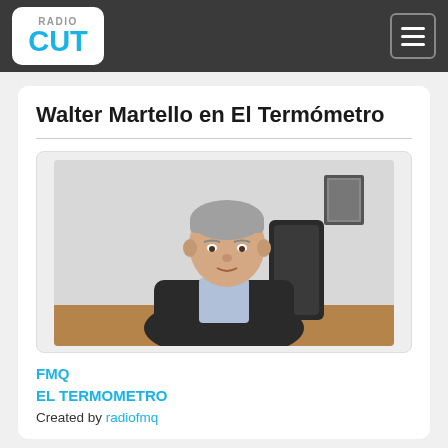RadioCut
Walter Martello en El Termómetro
[Figure (photo): Photo of Walter Martello, a middle-aged man with grey hair, wearing a dark jacket over a light blue checked shirt, seated at a desk with papers and a pen, in front of a black office chair and white wall with a framed picture.]
FMQ
EL TERMOMETRO
Created by radiofmq